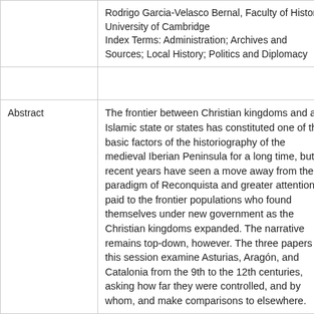|  | Rodrigo Garcia-Velasco Bernal, Faculty of History, University of Cambridge
Index Terms: Administration; Archives and Sources; Local History; Politics and Diplomacy |
|  |  |
| Abstract | The frontier between Christian kingdoms and an Islamic state or states has constituted one of the basic factors of the historiography of the medieval Iberian Peninsula for a long time, but recent years have seen a move away from the paradigm of Reconquista and greater attention paid to the frontier populations who found themselves under new government as the Christian kingdoms expanded. The narrative remains top-down, however. The three papers in this session examine Asturias, Aragón, and Catalonia from the 9th to the 12th centuries, asking how far they were controlled, and by whom, and make comparisons to elsewhere. |